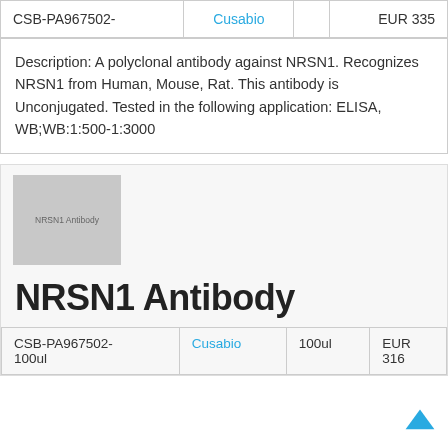| Product ID | Supplier | Price |
| --- | --- | --- |
| CSB-PA967502- | Cusabio | EUR 335 |
Description: A polyclonal antibody against NRSN1. Recognizes NRSN1 from Human, Mouse, Rat. This antibody is Unconjugated. Tested in the following application: ELISA, WB;WB:1:500-1:3000
[Figure (photo): Thumbnail placeholder image labeled NRSN1 Antibody]
NRSN1 Antibody
| Product ID | Supplier | Volume | Price |
| --- | --- | --- | --- |
| CSB-PA967502-100ul | Cusabio | 100ul | EUR 316 |